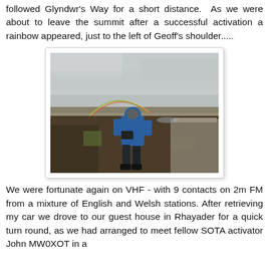followed Glyndwr's Way for a short distance. As we were about to leave the summit after a successful activation a rainbow appeared, just to the left of Geoff's shoulder.....
[Figure (photo): A person in a blue jacket standing on a moorland summit with a rainbow visible to their left, under an overcast grey sky. A stone trig point or wall structure is visible to the right.]
We were fortunate again on VHF - with 9 contacts on 2m FM from a mixture of English and Welsh stations. After retrieving my car we drove to our guest house in Rhayader for a quick turn round, as we had arranged to meet fellow SOTA activator John MW0XOT in a